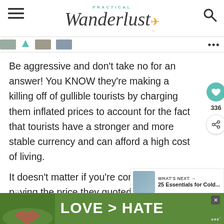Practical Wanderlust
Be aggressive and don’t take no for an answer! You KNOW they’re making a killing off of gullible tourists by charging them inflated prices to account for the fact that tourists have a stronger and more stable currency and can afford a high cost of living.
It doesn’t matter if you’re comfortable paying the price they quoted in the first place because it’s s...
[Figure (other): LOVE > HATE advertisement banner with hands forming a heart shape]